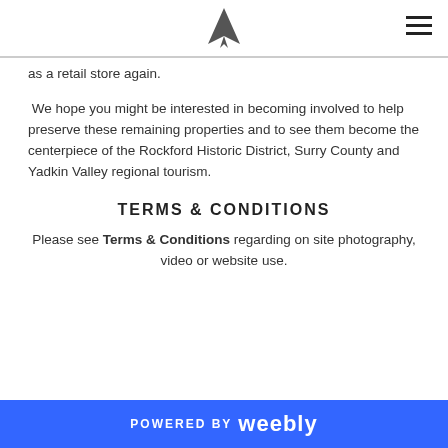[Logo icon and hamburger menu]
as a retail store again.
We hope you might be interested in becoming involved to help preserve these remaining properties and to see them become the centerpiece of the Rockford Historic District, Surry County and Yadkin Valley regional tourism.
TERMS & CONDITIONS
Please see Terms & Conditions regarding on site photography, video or website use.
POWERED BY weebly